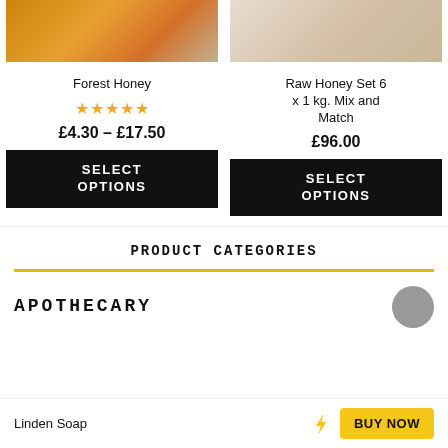[Figure (photo): Product photo of Forest Honey amber jars]
[Figure (photo): Product photo of Raw Honey Set items on light background]
Forest Honey
[Figure (other): 5 gold star rating for Forest Honey]
£4.30 – £17.50
SELECT OPTIONS
Raw Honey Set 6 x 1 kg. Mix and Match
£96.00
SELECT OPTIONS
PRODUCT CATEGORIES
APOTHECARY
Linden Soap
BUY NOW